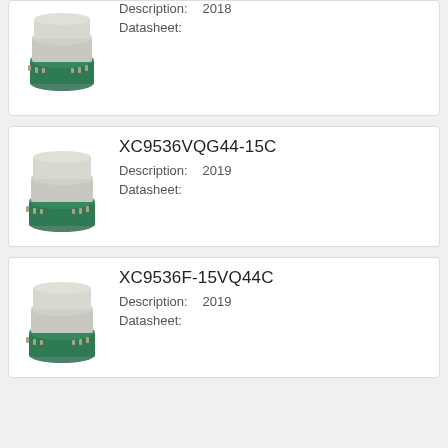[Figure (photo): CPLD/FPGA chip photo (partial card top) with description 2018 and Datasheet label]
Description:  2018
Datasheet:
XC9536VQG44-15C
[Figure (photo): CPLD/FPGA chip photo]
Description:  2019
Datasheet:
XC9536F-15VQ44C
[Figure (photo): CPLD/FPGA chip photo]
Description:  2019
Datasheet: